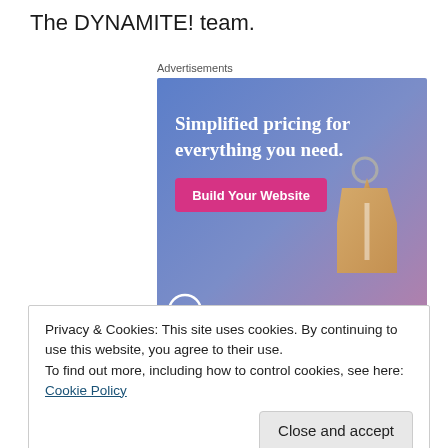The DYNAMITE! team.
Advertisements
[Figure (illustration): WordPress.com advertisement banner with gradient blue-purple background, text 'Simplified pricing for everything you need.', a pink 'Build Your Website' button, a tan price tag graphic, and the WordPress.com logo at the bottom.]
Privacy & Cookies: This site uses cookies. By continuing to use this website, you agree to their use.
To find out more, including how to control cookies, see here: Cookie Policy
Close and accept